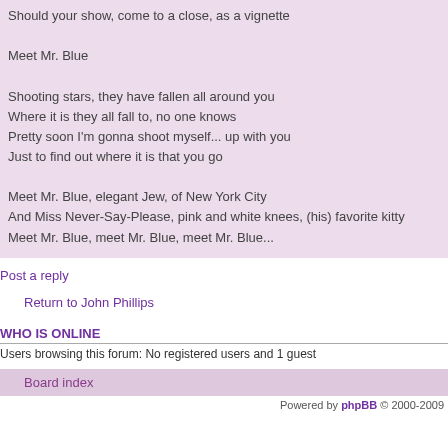Should your show, come to a close, as a vignette

Meet Mr. Blue

Shooting stars, they have fallen all around you
Where it is they all fall to, no one knows
Pretty soon I'm gonna shoot myself... up with you
Just to find out where it is that you go

Meet Mr. Blue, elegant Jew, of New York City
And Miss Never-Say-Please, pink and white knees, (his) favorite kitty
Meet Mr. Blue, meet Mr. Blue, meet Mr. Blue...
Post a reply
Return to John Phillips
WHO IS ONLINE
Users browsing this forum: No registered users and 1 guest
Board index
Powered by phpBB © 2000-2009